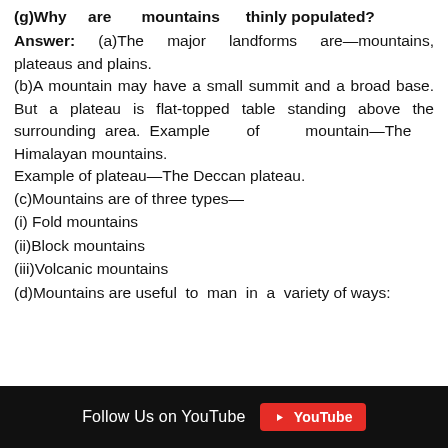(g)Why are mountains thinly populated?
Answer: (a)The major landforms are—mountains, plateaus and plains. (b)A mountain may have a small summit and a broad base. But a plateau is flat-topped table standing above the surrounding area. Example of mountain—The Himalayan mountains. Example of plateau—The Deccan plateau. (c)Mountains are of three types—
(i) Fold mountains
(ii)Block mountains
(iii)Volcanic mountains
(d)Mountains are useful to man in a variety of ways:
Follow Us on YouTube